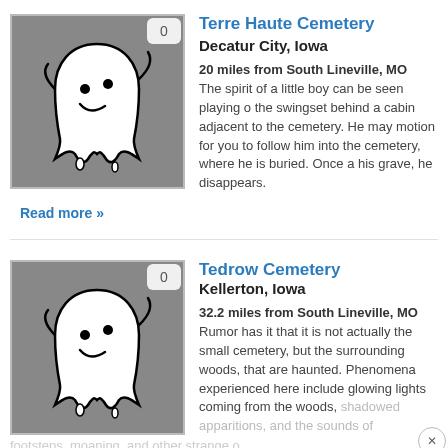[Figure (illustration): Ghost cartoon illustration on gray background with badge showing 0]
Terre Haute Cemetery
Decatur City, Iowa
20 miles from South Lineville, MO
The spirit of a little boy can be seen playing on the swingset behind a cabin adjacent to the cemetery. He may motion for you to follow him into the cemetery, where he is buried. Once at his grave, he disappears.
Read more »
[Figure (illustration): Ghost cartoon illustration on gray background with badge showing 0]
Tedrow Cemetery
Kellerton, Iowa
32.2 miles from South Lineville, MO
Rumor has it that it is not actually the small cemetery, but the surrounding woods, that are haunted. Phenomena experienced here include glowing lights coming from the woods, shadowed apparitions, and the sounds of footsteps, moaning, and other strange o...